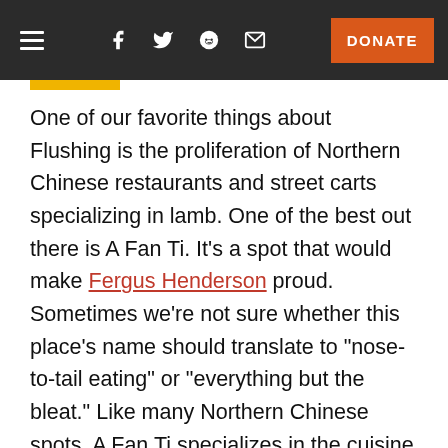Navigation bar with hamburger menu, social icons (Facebook, Twitter, Reddit, Email), and DONATE button
One of our favorite things about Flushing is the proliferation of Northern Chinese restaurants and street carts specializing in lamb. One of the best out there is A Fan Ti. It's a spot that would make Fergus Henderson proud. Sometimes we're not sure whether this place's name should translate to "nose-to-tail eating" or "everything but the bleat." Like many Northern Chinese spots, A Fan Ti specializes in the cuisine of Xinjiang, particularly lamb. A Fan Ti takes it one step further by using every last part of the beast, including the head, heart and tripe as well as several cuts that are slightly more exotic